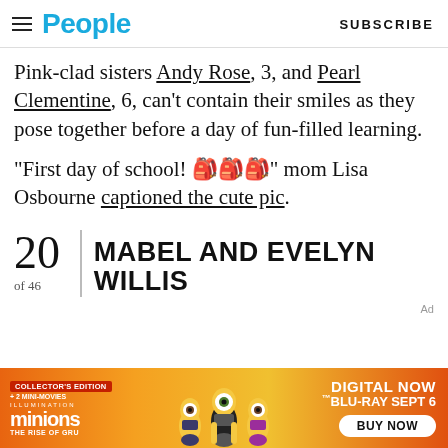People | SUBSCRIBE
Pink-clad sisters Andy Rose, 3, and Pearl Clementine, 6, can't contain their smiles as they pose together before a day of fun-filled learning.
“First day of school! 🎒🎒🎒” mom Lisa Osbourne captioned the cute pic.
MABEL AND EVELYN WILLIS
20 of 46
[Figure (photo): Advertisement banner for Minions: The Rise of Gru - Collector's Edition with +2 Mini-Movies. Digital Now, Blu-Ray Sept 6, Buy Now.]